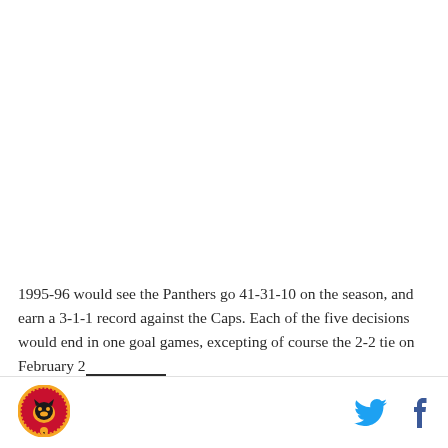1995-96 would see the Panthers go 41-31-10 on the season, and earn a 3-1-1 record against the Caps. Each of the five decisions would end in one goal games, excepting of course the 2-2 tie on February 20th. Go I on 22 d the C 5 4 th d th
[Figure (logo): Florida Panthers circular logo with panther head on red and yellow background]